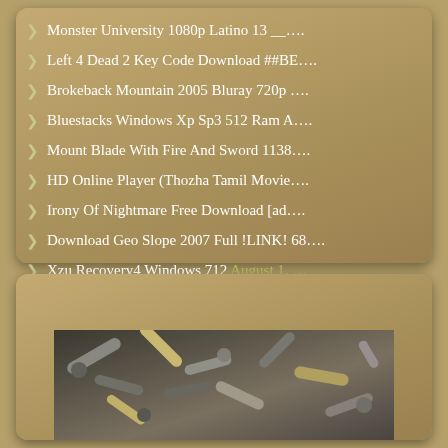Monster University 1080p Latino 13 __....
Left 4 Dead 2 Key Code Download ##BE....
Brokeback Mountain 2005 Bluray 720p ....
Bluestacks Windows Xp Sp3 512 Ram A....
Mount Blade With Fire And Sword 1138....
HD Online Player (Thozha Tamil Movie....
Irony Of Nightmare Free Download [ad....
Download Geo Slope 2007 Full !LINK! 68....
Xzu Recovery4 Windows 712 August 1, ....
Klucz Licencyjny File View Pro. Chomi....
[Figure (photo): Photo of assorted screws, bolts, nails and metal fasteners scattered together]